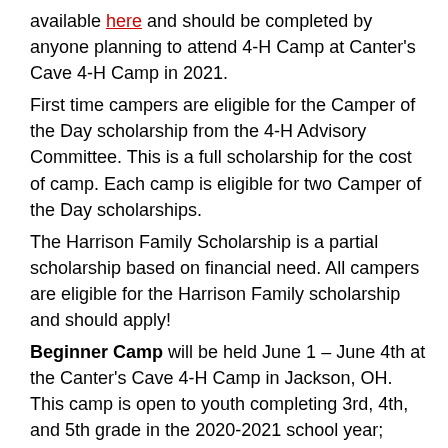available here and should be completed by anyone planning to attend 4-H Camp at Canter's Cave 4-H Camp in 2021.
First time campers are eligible for the Camper of the Day scholarship from the 4-H Advisory Committee. This is a full scholarship for the cost of camp. Each camp is eligible for two Camper of the Day scholarships.
The Harrison Family Scholarship is a partial scholarship based on financial need. All campers are eligible for the Harrison Family scholarship and should apply!
Beginner Camp will be held June 1 – June 4th at the Canter's Cave 4-H Camp in Jackson, OH. This camp is open to youth completing 3rd, 4th, and 5th grade in the 2020-2021 school year; youth do not have to be in 4-H to attend. Beginner Camp will cost $127 for Adams County 4-H members thanks to a $20 camper scholarship awarded to all county 4-H members by the Adams County 4-H Advisory Committee and $157 for non-4-H members. Register for Beginner Camp at go.osu.edu/ablmpbeginner before May